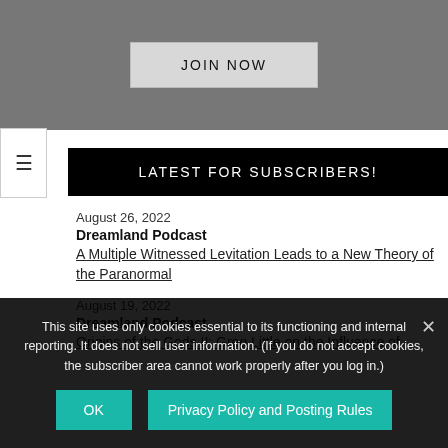[Figure (other): Gray banner with JOIN NOW button]
LATEST FOR SUBSCRIBERS!
August 26, 2022
Dreamland Podcast
A Multiple Witnessed Levitation Leads to a New Theory of the Paranormal
August 19, 2022
Dreamland Podcast
Origins of the Gods II: Greg Little on the Influence of
This site uses only cookies essential to its functioning and internal reporting. It does not sell user information. (If you do not accept cookies, the subscriber area cannot work properly after you log in.)
OK
Privacy Policy and Posting Rules